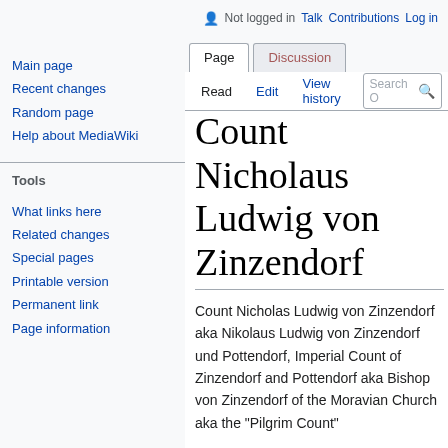Not logged in  Talk  Contributions  Log in
Page  Discussion
Read  Edit  View history  Search
Count Nicholaus Ludwig von Zinzendorf
Count Nicholas Ludwig von Zinzendorf aka Nikolaus Ludwig von Zinzendorf und Pottendorf, Imperial Count of Zinzendorf and Pottendorf aka Bishop von Zinzendorf of the Moravian Church aka the "Pilgrim Count"
Germany 1700 – 1760
Comments: the Moravian Church; Lutherian Pietist; anti-slavery work in the Caribbean; activity in Georgia;
Main page
Recent changes
Random page
Help about MediaWiki
Tools
What links here
Related changes
Special pages
Printable version
Permanent link
Page information